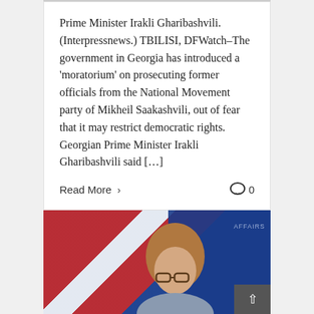Prime Minister Irakli Gharibashvili. (Interpressnews.) TBILISI, DFWatch–The government in Georgia has introduced a ‘moratorium’ on prosecuting former officials from the National Movement party of Mikheil Saakashvili, out of fear that it may restrict democratic rights. Georgian Prime Minister Irakli Gharibashvili said […]
Read More >
0
[Figure (photo): Photo of a woman with glasses and long hair in front of a Georgian flag and a blue backdrop with text partially visible reading AFFAIRS]